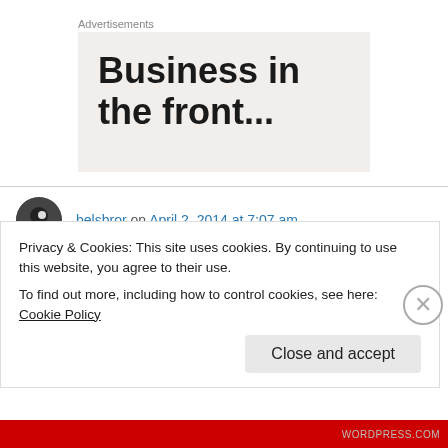Advertisements
[Figure (other): Advertisement box with large bold text reading 'Business in the front...' on a light beige/grey background]
belsbror on April 2, 2014 at 7:07 am
Greetings! Awards time, fellow blogger!
Privacy & Cookies: This site uses cookies. By continuing to use this website, you agree to their use.
To find out more, including how to control cookies, see here: Cookie Policy
Close and accept